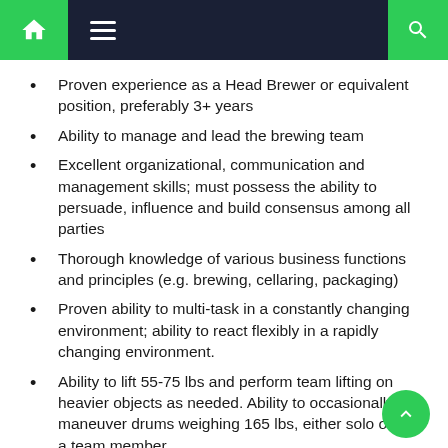Navigation bar with home, menu, and search icons
Proven experience as a Head Brewer or equivalent position, preferably 3+ years
Ability to manage and lead the brewing team
Excellent organizational, communication and management skills; must possess the ability to persuade, influence and build consensus among all parties
Thorough knowledge of various business functions and principles (e.g. brewing, cellaring, packaging)
Proven ability to multi-task in a constantly changing environment; ability to react flexibly in a rapidly changing environment.
Ability to lift 55-75 lbs and perform team lifting on heavier objects as needed. Ability to occasionally maneuver drums weighing 165 lbs, either solo or with a team member.